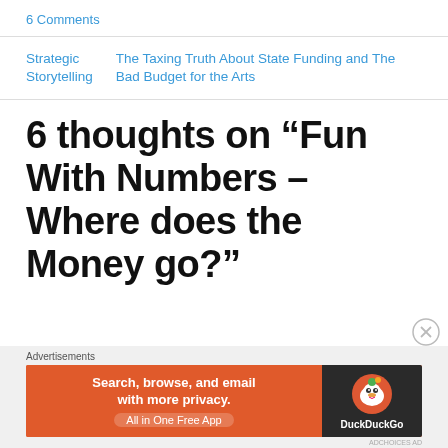6 Comments
Strategic Storytelling
The Taxing Truth About State Funding and The Bad Budget for the Arts
6 thoughts on “Fun With Numbers – Where does the Money go?”
Advertisements
[Figure (other): DuckDuckGo advertisement banner: Search, browse, and email with more privacy. All in One Free App.]